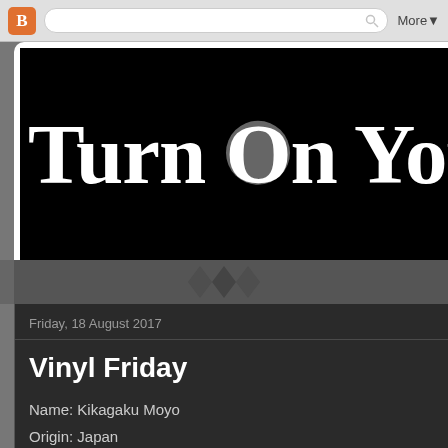[Figure (screenshot): Browser toolbar with Blogger orange 'B' icon, search bar with magnifying glass icon, and 'More▼' button]
[Figure (logo): Blog header banner with black background and large white serif text reading 'Turn On Your...' with a grey circle behind the letter 'O' in 'On']
Friday, 18 August 2017
Vinyl Friday
Name: Kikagaku Moyo
Origin: Japan
Album: Stone Garden
Year: 2017
Links: Bandcamp
Label: Guruguru Brain